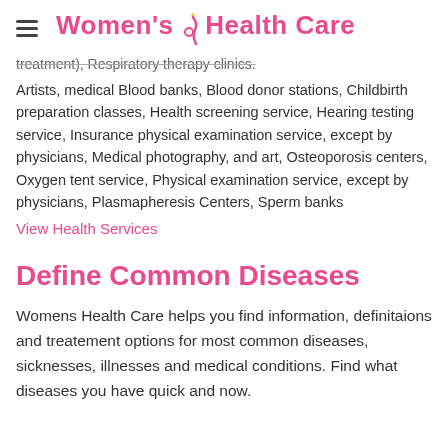Women's Health Care
treatment), Respiratory therapy clinics.
Artists, medical Blood banks, Blood donor stations, Childbirth preparation classes, Health screening service, Hearing testing service, Insurance physical examination service, except by physicians, Medical photography, and art, Osteoporosis centers, Oxygen tent service, Physical examination service, except by physicians, Plasmapheresis Centers, Sperm banks
View Health Services
Define Common Diseases
Womens Health Care helps you find information, definitaions and treatement options for most common diseases, sicknesses, illnesses and medical conditions. Find what diseases you have quick and now.